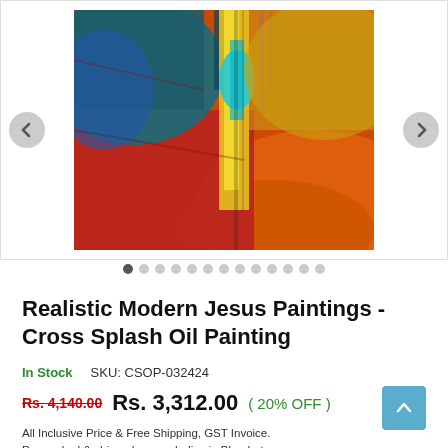[Figure (photo): Abstract oil painting showing a cross shape in the center with vibrant colors including blue, teal, yellow, red, and orange. The painting has textured brushwork with bold color contrasts.]
Realistic Modern Jesus Paintings - Cross Splash Oil Painting
In Stock      SKU: CSOP-032424
Rs. 4,140.00  Rs. 3,312.00  ( 20% OFF )
All Inclusive Price & Free Shipping, GST Invoice.
Pro packed & shipped across India via Bluedart